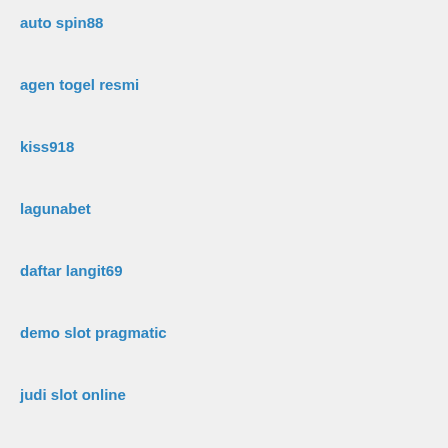auto spin88
agen togel resmi
kiss918
lagunabet
daftar langit69
demo slot pragmatic
judi slot online